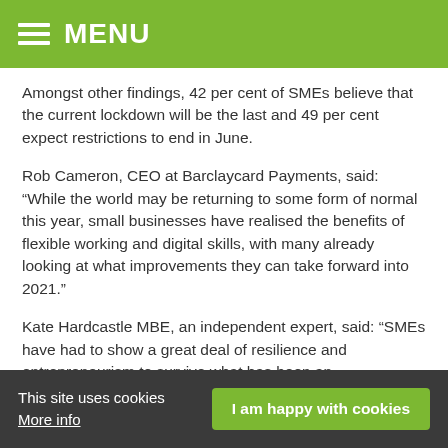MENU
Amongst other findings, 42 per cent of SMEs believe that the current lockdown will be the last and 49 per cent expect restrictions to end in June.
Rob Cameron, CEO at Barclaycard Payments, said: “While the world may be returning to some form of normal this year, small businesses have realised the benefits of flexible working and digital skills, with many already looking at what improvements they can take forward into 2021.”
Kate Hardcastle MBE, an independent expert, said: “SMEs have had to show a great deal of resilience and entrepreneurism to survive what has been an unprecedented time, and indeed many have shown great ingenuity and creativity.
“Finding new ways to work, and maximising the opportunity with new technology has enabled some businesses to build greater engagement with customers. There is certainly cautiousness
This site uses cookies  More info  I am happy with cookies